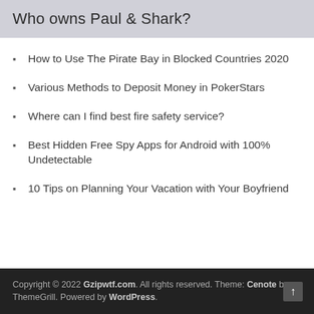Who owns Paul & Shark?
How to Use The Pirate Bay in Blocked Countries 2020
Various Methods to Deposit Money in PokerStars
Where can I find best fire safety service?
Best Hidden Free Spy Apps for Android with 100% Undetectable
10 Tips on Planning Your Vacation with Your Boyfriend
Copyright © 2022 Gzipwtf.com. All rights reserved. Theme: Cenote by ThemeGrill. Powered by WordPress.